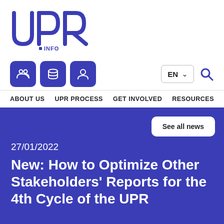[Figure (logo): UPR INFO logo — large stylized 'UPR' letters with '.INFO' text in blue]
[Figure (infographic): Navigation bar with three blue icon buttons (group/people, database, user) and a language selector showing EN with dropdown and a search icon]
ABOUT US   UPR PROCESS   GET INVOLVED   RESOURCES
See all news
27/01/2022
New: How to Optimize Other Stakeholders' Reports for the 4th Cycle of the UPR